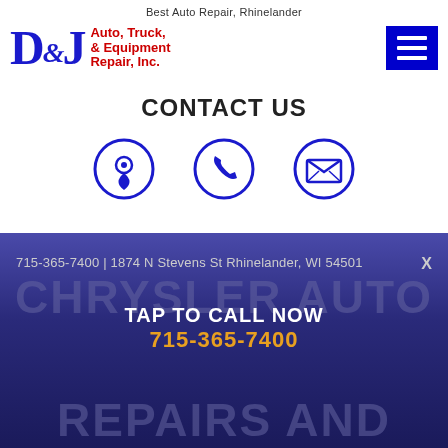Best Auto Repair, Rhinelander
[Figure (logo): D&J Auto, Truck, & Equipment Repair, Inc. logo with blue stylized letters and red subtitle text]
[Figure (other): Blue hamburger/menu icon button]
CONTACT US
[Figure (infographic): Three circular icons in blue outline: location pin, phone handset, envelope/email]
715-365-7400 | 1874 N Stevens St Rhinelander, WI 54501
TAP TO CALL NOW
715-365-7400
CHRYSLER AUTO
REPAIRS AND